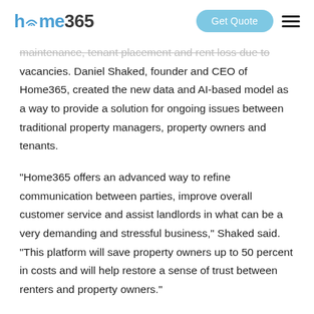home365 | Get Quote
maintenance, tenant placement and rent loss due to vacancies. Daniel Shaked, founder and CEO of Home365, created the new data and AI-based model as a way to provide a solution for ongoing issues between traditional property managers, property owners and tenants.
“Home365 offers an advanced way to refine communication between parties, improve overall customer service and assist landlords in what can be a very demanding and stressful business,” Shaked said. “This platform will save property owners up to 50 percent in costs and will help restore a sense of trust between renters and property owners.”
Tenants, property owners and service providers